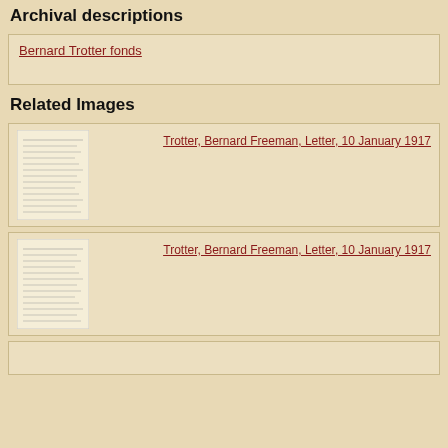Archival descriptions
Bernard Trotter fonds
Related Images
[Figure (photo): Thumbnail of handwritten letter page 1 - Trotter, Bernard Freeman, Letter, 10 January 1917]
Trotter, Bernard Freeman, Letter, 10 January 1917
[Figure (photo): Thumbnail of handwritten letter page 2 - Trotter, Bernard Freeman, Letter, 10 January 1917]
Trotter, Bernard Freeman, Letter, 10 January 1917